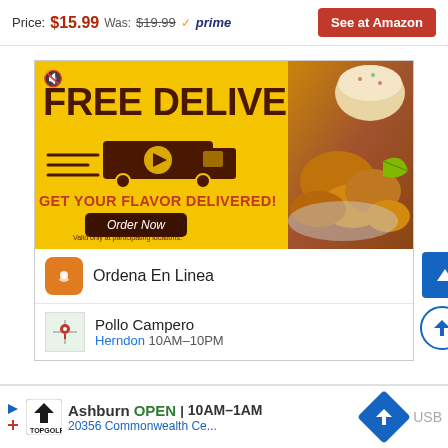Price: $15.99 Was: $19.99 ✓prime
See at Amazon
[Figure (screenshot): Pollo Campero FREE DELIVERY food advertisement banner with yellow background, delivery truck graphic, fried chicken photo, 'GET YOUR FLAVOR DELIVERED!' text, 'Order Now' button, Ordena En Linea app icon, map showing Pollo Campero Herndon 10AM-10PM location]
Ashburn OPEN 10AM–1AM 20356 Commonwealth Ce... USB